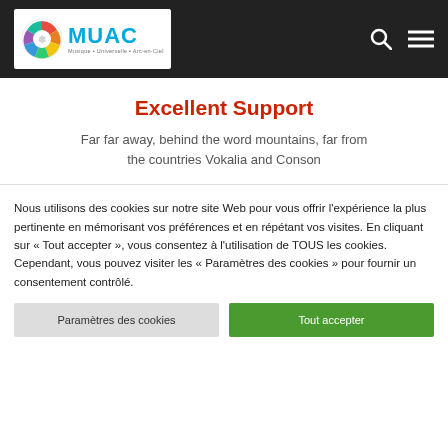MUAC — Musique * Universelle * Arc-en-Ciel
Excellent Support
Far far away, behind the word mountains, far from the countries Vokalia and Conson
Nous utilisons des cookies sur notre site Web pour vous offrir l'expérience la plus pertinente en mémorisant vos préférences et en répétant vos visites. En cliquant sur « Tout accepter », vous consentez à l'utilisation de TOUS les cookies. Cependant, vous pouvez visiter les « Paramètres des cookies » pour fournir un consentement contrôlé.
Paramètres des cookies | Tout accepter